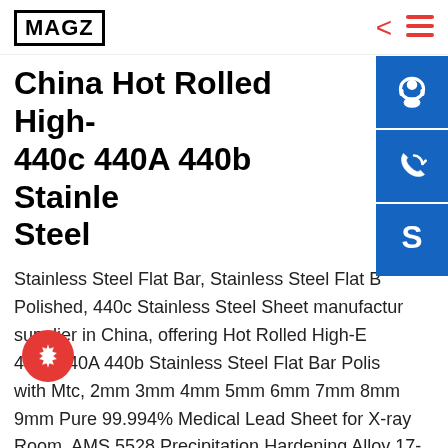MAGZ
China Hot Rolled High-440c 440A 440b Stainless Steel
Stainless Steel Flat Bar, Stainless Steel Flat Bar Polished, 440c Stainless Steel Sheet manufacturer / supplier in China, offering Hot Rolled High-End 440c 440A 440b Stainless Steel Flat Bar Polished with Mtc, 2mm 3mm 4mm 5mm 6mm 7mm 8mm 9mm Pure 99.994% Medical Lead Sheet for X-ray Room, AMS 5528 Precipitation Hardening Alloy 17-7 Stainless Steel Plate Sheet Price List and so on. China Stainless Steel Metal Rod, Stainless Steel Metal Rod China Stainless Steel Metal Rod...